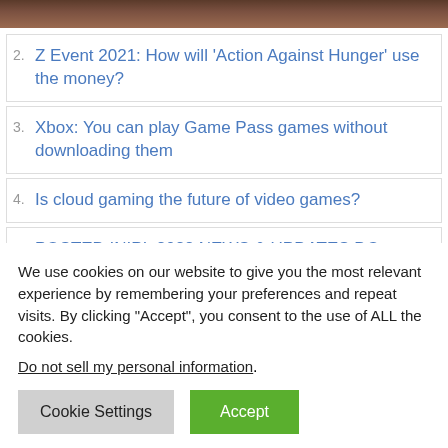[Figure (photo): Top banner image, dark brownish/reddish tones, partially visible]
2. Z Event 2021: How will ‘Action Against Hunger’ use the money?
3. Xbox: You can play Game Pass games without downloading them
4. Is cloud gaming the future of video games?
5. POSTED INIPL 2022 NEWS & UPDATES DC vs PBKS: Match Preview – IPL 2022 Match 32, Delhi Capitals vs Punjab Kings
We use cookies on our website to give you the most relevant experience by remembering your preferences and repeat visits. By clicking “Accept”, you consent to the use of ALL the cookies.
Do not sell my personal information.